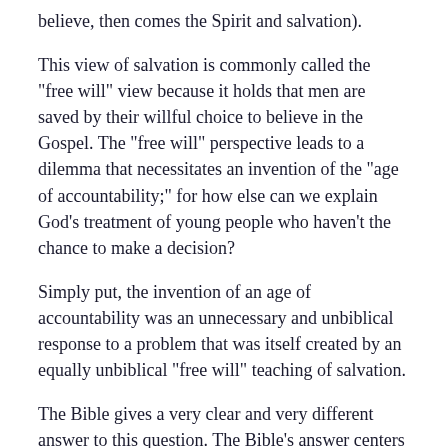believe, then comes the Spirit and salvation).
This view of salvation is commonly called the "free will" view because it holds that men are saved by their willful choice to believe in the Gospel. The "free will" perspective leads to a dilemma that necessitates an invention of the "age of accountability;" for how else can we explain God's treatment of young people who haven't the chance to make a decision?
Simply put, the invention of an age of accountability was an unnecessary and unbiblical response to a problem that was itself created by an equally unbiblical "free will" teaching of salvation.
The Bible gives a very clear and very different answer to this question. The Bible's answer centers on a proper understanding of the way ALL men are saved in the first place. The Bible solves this dilemma in the right way, by